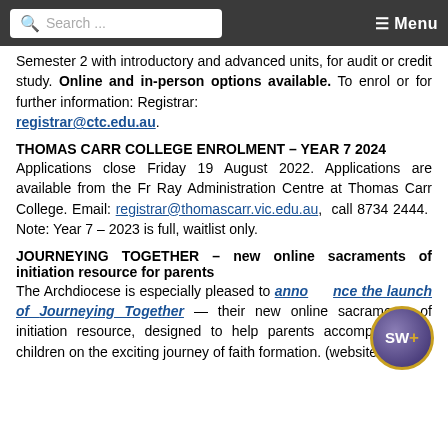Search ... Menu
Semester 2 with introductory and advanced units, for audit or credit study. Online and in-person options available. To enrol or for further information: Registrar: registrar@ctc.edu.au.
THOMAS CARR COLLEGE ENROLMENT – YEAR 7 2024
Applications close Friday 19 August 2022. Applications are available from the Fr Ray Administration Centre at Thomas Carr College. Email: registrar@thomascarr.vic.edu.au, call 8734 2444. Note: Year 7 – 2023 is full, waitlist only.
JOURNEYING TOGETHER – new online sacraments of initiation resource for parents
The Archdiocese is especially pleased to announce the launch of Journeying Together — their new online sacraments of initiation resource, designed to help parents accompany their children on the exciting journey of faith formation. (website: